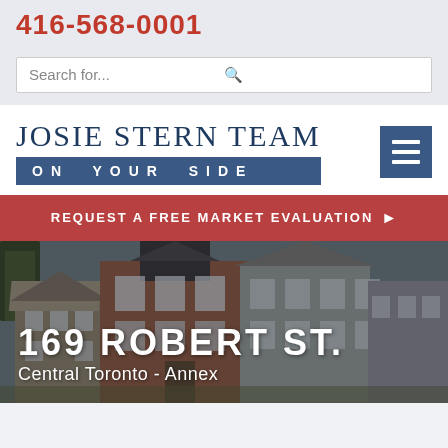416-568-0001
Search for...
JOSIE STERN TEAM
ON YOUR SIDE
REQUEST A FREE MARKET EVALUATION ▶
[Figure (photo): Exterior photo of a brick and stone residential building at 169 Robert St., Central Toronto - Annex neighborhood. Multiple storey Victorian-era houses visible.]
169 ROBERT ST.
Central Toronto - Annex